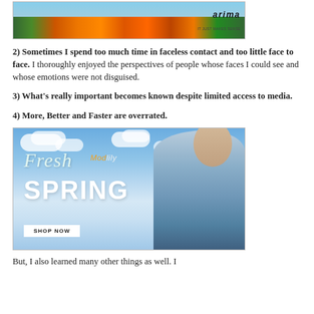[Figure (photo): Top banner image with autumn trees silhouette against a sky, with 'arima' logo text in the top right corner.]
2) Sometimes I spend too much time in faceless contact and too little face to face. I thoroughly enjoyed the perspectives of people whose faces I could see and whose emotions were not disguised.
3) What’s really important becomes known despite limited access to media.
4)  More, Better and Faster are overrated.
[Figure (photo): Advertisement for Modlily Fresh Spring collection showing a woman in a blue top against a sky background with text 'Fresh Modlily SPRING' and a 'SHOP NOW' button.]
But, I also learned many other things as well. I